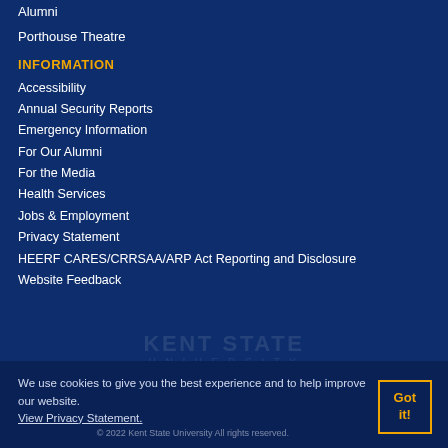Alumni
Porthouse Theatre
INFORMATION
Accessibility
Annual Security Reports
Emergency Information
For Our Alumni
For the Media
Health Services
Jobs & Employment
Privacy Statement
HEERF CARES/CRRSAA/ARP Act Reporting and Disclosure
Website Feedback
We use cookies to give you the best experience and to help improve our website. View Privacy Statement.
© 2022 Kent State University All rights reserved.